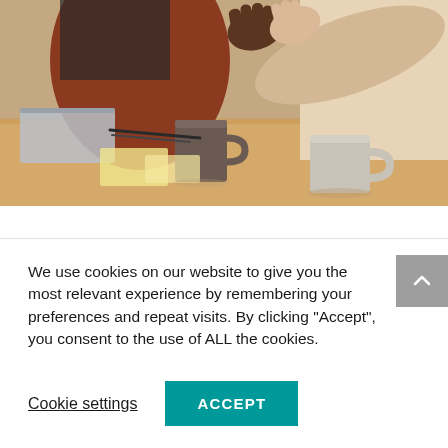[Figure (photo): Two people shaking hands across a wooden desk with coffee mugs, a laptop, and papers. One person wears a rust/brown top, the other a cream/beige top. Close-up shot from above.]
We use cookies on our website to give you the most relevant experience by remembering your preferences and repeat visits. By clicking “Accept”, you consent to the use of ALL the cookies.
Cookie settings
ACCEPT